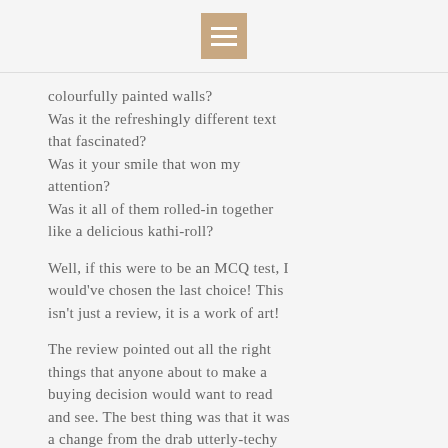[menu icon]
colourfully painted walls? Was it the refreshingly different text that fascinated? Was it your smile that won my attention? Was it all of them rolled-in together like a delicious kathi-roll?
Well, if this were to be an MCQ test, I would've chosen the last choice! This isn't just a review, it is a work of art!
The review pointed out all the right things that anyone about to make a buying decision would want to read and see. The best thing was that it was a change from the drab utterly-techy